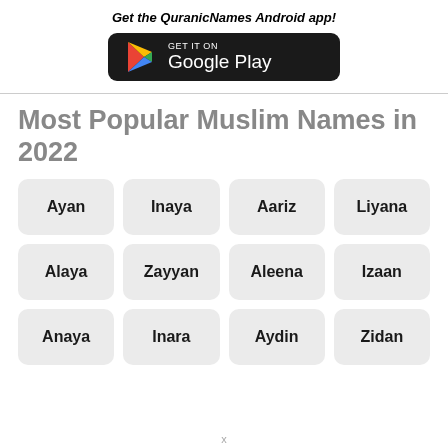Get the QuranicNames Android app!
[Figure (logo): Google Play Store download badge with Play triangle icon on black rounded rectangle background]
Most Popular Muslim Names in 2022
Ayan
Inaya
Aariz
Liyana
Alaya
Zayyan
Aleena
Izaan
Anaya
Inara
Aydin
Zidan
x